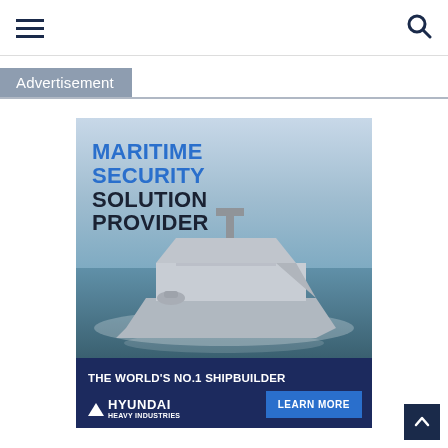Navigation bar with hamburger menu and search icon
Advertisement
[Figure (illustration): Hyundai Heavy Industries advertisement featuring a stealth naval warship at sea with text: MARITIME SECURITY SOLUTION PROVIDER. THE WORLD's NO.1 SHIPBUILDER. HYUNDAI HEAVY INDUSTRIES. LEARN MORE.]